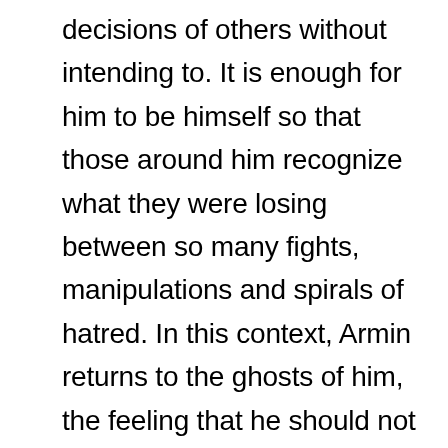decisions of others without intending to. It is enough for him to be himself so that those around him recognize what they were losing between so many fights, manipulations and spirals of hatred. In this context, Armin returns to the ghosts of him, the feeling that he should not have survived but Erwin Smith. That's why she tries to cover the space that Connie tries to fill with Falco.